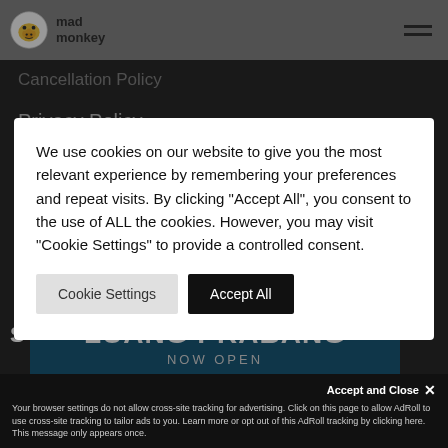[Figure (logo): Mad Monkey logo with monkey icon and text]
Cancellation Policy
Privacy Policy
Terms & Conditions
We use cookies on our website to give you the most relevant experience by remembering your preferences and repeat visits. By clicking "Accept All", you consent to the use of ALL the cookies. However, you may visit "Cookie Settings" to provide a controlled consent.
Cookie Settings
Accept All
[Figure (photo): Luang Prabang NOW OPEN banner on dark background]
Accept and Close ✕
Your browser settings do not allow cross-site tracking for advertising. Click on this page to allow AdRoll to use cross-site tracking to tailor ads to you. Learn more or opt out of this AdRoll tracking by clicking here. This message only appears once.